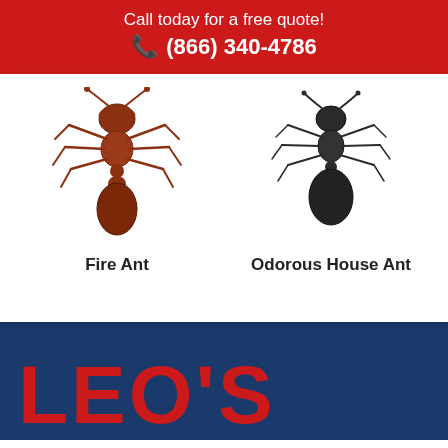Call today for a free quote! ☎ (866) 340-4786
[Figure (illustration): Red fire ant illustration, top-down view]
Fire Ant
[Figure (illustration): Black odorous house ant illustration, top-down view]
Odorous House Ant
LEO'S